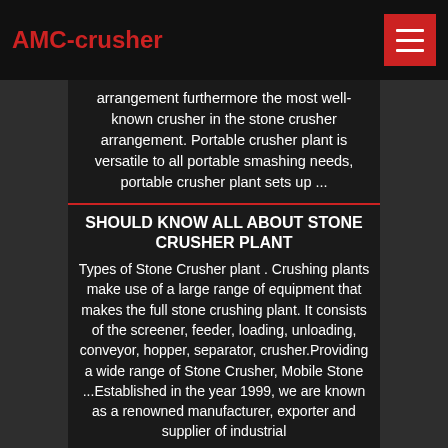AMC-crusher
arrangement furthermore the most well-known crusher in the stone crusher arrangement. Portable crusher plant is versatile to all portable smashing needs, portable crusher plant sets up ...
SHOULD KNOW ALL ABOUT STONE CRUSHER PLANT
Types of Stone Crusher plant . Crushing plants make use of a large range of equipment that makes the full stone crushing plant. It consists of the screener, feeder, loading, unloading, conveyor, hopper, separator, crusher.Providing a wide range of Stone Crusher, Mobile Stone ...Established in the year 1999, we are known as a renowned manufacturer, exporter and supplier of industrial